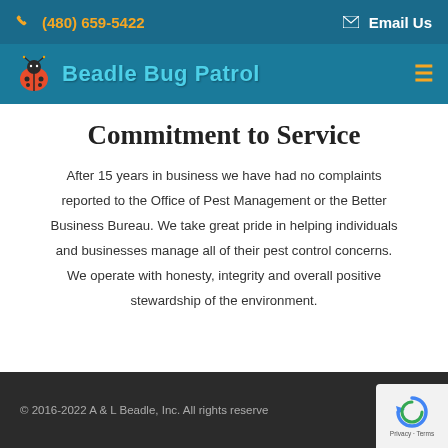(480) 659-5422   Email Us
[Figure (logo): Beadle Bug Patrol logo with ladybug icon and teal text]
Commitment to Service
After 15 years in business we have had no complaints reported to the Office of Pest Management or the Better Business Bureau. We take great pride in helping individuals and businesses manage all of their pest control concerns. We operate with honesty, integrity and overall positive stewardship of the environment.
© 2016-2022 A & L Beadle, Inc. All rights reserved